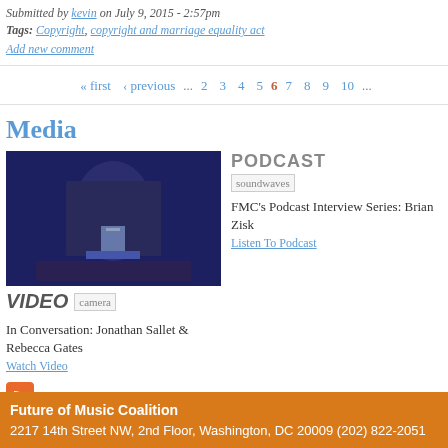Submitted by kevin on July 9, 2015 - 2:57pm
Tags: Copyright, copyright and marriage equality act
Add new comment
« first ‹ previous ... 2 3 4 5 6 7 8 9 10 ...
Media
[Figure (photo): Video thumbnail showing a man speaking with a microphone on a stage with blue lighting, labeled VIDEO with camera icon]
In Conversation: Jonathan Sallet & Rebecca Gates
Watch Video
[Figure (other): PODCAST header with soundwaves image placeholder]
FMC's Podcast Interview Series: Brian Zisk
Listen To Podcast
[Figure (other): RSS feed orange icon]
Future of Music Coalition
2217 14th Street NW, 2nd Floor, Washington, DC 20009 (202) 822-2051